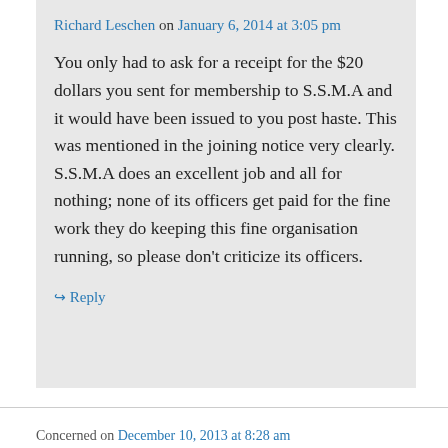Richard Leschen on January 6, 2014 at 3:05 pm
You only had to ask for a receipt for the $20 dollars you sent for membership to S.S.M.A and it would have been issued to you post haste. This was mentioned in the joining notice very clearly. S.S.M.A does an excellent job and all for nothing; none of its officers get paid for the fine work they do keeping this fine organisation running, so please don't criticize its officers.
↪ Reply
Concerned on December 10, 2013 at 8:28 am